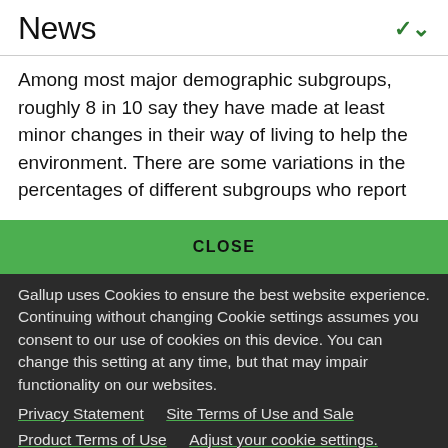News
Among most major demographic subgroups, roughly 8 in 10 say they have made at least minor changes in their way of living to help the environment. There are some variations in the percentages of different subgroups who report
CLOSE
Gallup uses Cookies to ensure the best website experience. Continuing without changing Cookie settings assumes you consent to our use of cookies on this device. You can change this setting at any time, but that may impair functionality on our websites.
Privacy Statement   Site Terms of Use and Sale
Product Terms of Use   Adjust your cookie settings.